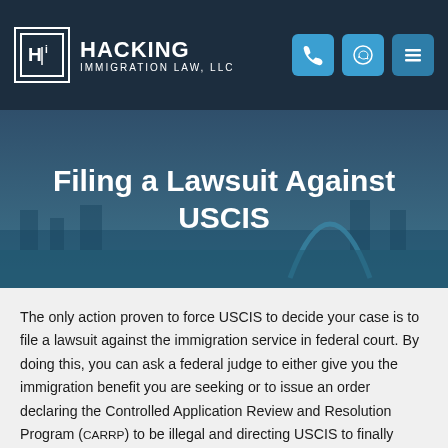[Figure (logo): Hacking Immigration Law, LLC logo with H-i icon in white border box on dark navy background]
Filing a Lawsuit Against USCIS
The only action proven to force USCIS to decide your case is to file a lawsuit against the immigration service in federal court. By doing this, you can ask a federal judge to either give you the immigration benefit you are seeking or to issue an order declaring the Controlled Application Review and Resolution Program (CARRP) to be illegal and directing USCIS to finally decide your case by a fixed deadline.